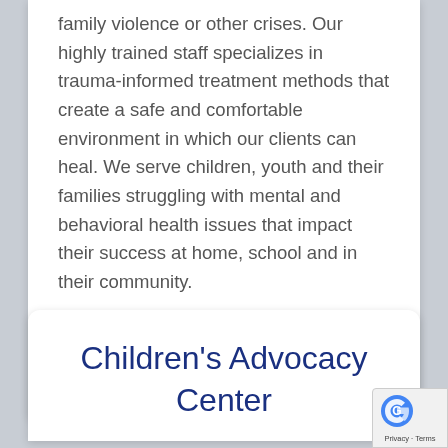family violence or other crises. Our highly trained staff specializes in trauma-informed treatment methods that create a safe and comfortable environment in which our clients can heal. We serve children, youth and their families struggling with mental and behavioral health issues that impact their success at home, school and in their community.
LEARN MORE
Children's Advocacy Center